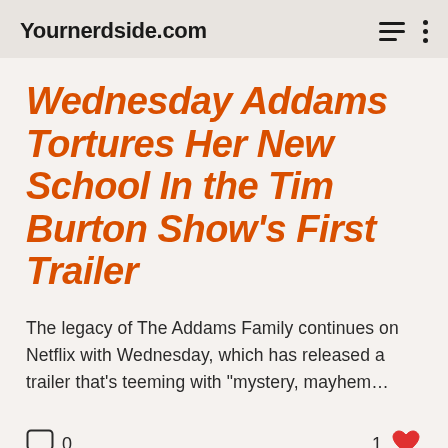Yournerdside.com
Wednesday Addams Tortures Her New School In the Tim Burton Show's First Trailer
The legacy of The Addams Family continues on Netflix with Wednesday, which has released a trailer that's teeming with "mystery, mayhem...